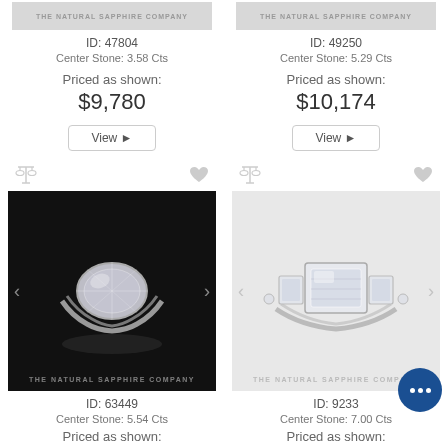[Figure (photo): The Natural Sapphire Company logo/brand image - top left product thumbnail]
ID: 47804
Center Stone: 3.58 Cts
Priced as shown:
$9,780
[Figure (photo): The Natural Sapphire Company logo/brand image - top right product thumbnail]
ID: 49250
Center Stone: 5.29 Cts
Priced as shown:
$10,174
[Figure (photo): White sapphire oval ring on black background - The Natural Sapphire Company, ID 63449]
ID: 63449
Center Stone: 5.54 Cts
Priced as shown:
[Figure (photo): White sapphire emerald-cut three-stone ring on light background - The Natural Sapphire Company, ID 9233]
ID: 9233
Center Stone: 7.00 Cts
Priced as shown: